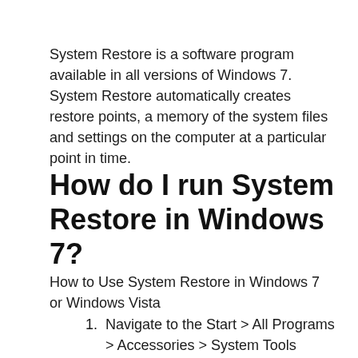System Restore is a software program available in all versions of Windows 7. System Restore automatically creates restore points, a memory of the system files and settings on the computer at a particular point in time.
How do I run System Restore in Windows 7?
How to Use System Restore in Windows 7 or Windows Vista
Navigate to the Start > All Programs > Accessories > System Tools program